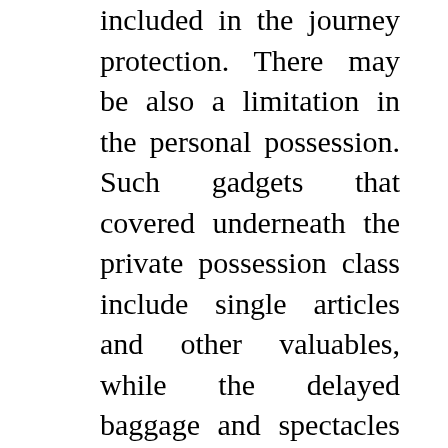included in the journey protection. There may be also a limitation in the personal possession. Such gadgets that covered underneath the private possession class include single articles and other valuables, while the delayed baggage and spectacles and sunglasses should not included. But, the price vary for this sort of insurance coverage remains to be not unhealthy if and only in case you are going for a visit only a few times a yr for about 31 days. Although the time coated by the insurance coverage policy might be extended as much as forty five days. Let's start with the bottom-line. Most airways have a fancy grading system in place for ticket costs. Whether or not you're shopping for a deal to a tremendous vacation spot, must e book a quick flight for enterprise or one thing in between, you've gotten landed on the suitable web page. Some of the don'ts embrace bathing,